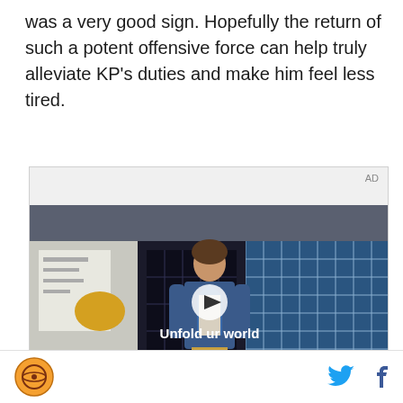was a very good sign. Hopefully the return of such a potent offensive force can help truly alleviate KP's duties and make him feel less tired.
[Figure (screenshot): Video advertisement thumbnail showing a young man in a denim jacket standing in front of a blue-tiled building. Text overlay reads 'Unfold your world' with a play button icon. AD label in top right corner.]